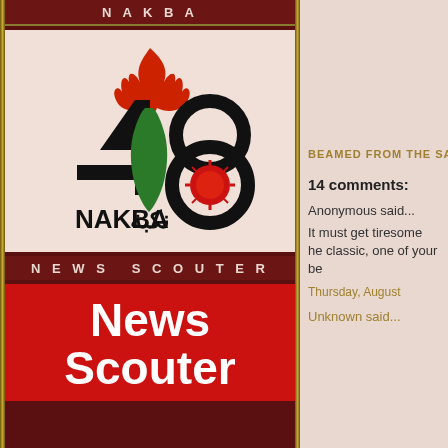NAKBA
[Figure (logo): Nakba 48 logo with flame, map of Palestine in green, and Arabic text نكبة alongside NAKBA text]
NEWS SCOUTER
[Figure (logo): Red box with white bold text reading 'News Scouter']
BEAMED FROM THE SA
14 comments:
Anonymous said...
It must get tiresome he classic, one of your be
Thursday, August
Unknown said...